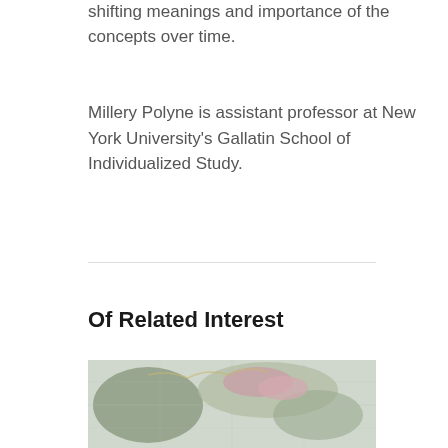shifting meanings and importance of the concepts over time.
Millery Polyne is assistant professor at New York University's Gallatin School of Individualized Study.
Of Related Interest
[Figure (photo): Book cover for 'Jewish Experiences Across the Americas' featuring an antique map background with a dark red title bar showing the book title text.]